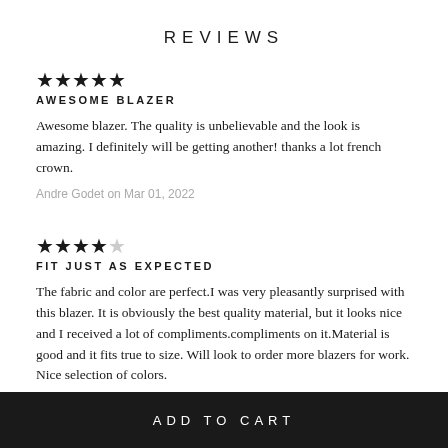REVIEWS
★★★★★
AWESOME BLAZER

Awesome blazer. The quality is unbelievable and the look is amazing. I definitely will be getting another! thanks a lot french crown.

Andre Godet on Mar 01, 2022
★★★★☆
FIT JUST AS EXPECTED

The fabric and color are perfect.I was very pleasantly surprised with this blazer. It is obviously the best quality material, but it looks nice and I received a lot of compliments.compliments on it.Material is good and it fits true to size. Will look to order more blazers for work. Nice selection of colors.
ADD TO CART